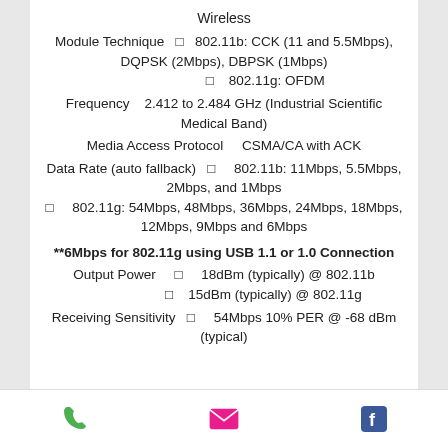Wireless
Module Technique  □  802.11b: CCK (11 and 5.5Mbps), DQPSK (2Mbps), DBPSK (1Mbps)
□  802.11g: OFDM
Frequency  2.412 to 2.484 GHz (Industrial Scientific Medical Band)
Media Access Protocol  CSMA/CA with ACK
Data Rate (auto fallback)  □  802.11b: 11Mbps, 5.5Mbps, 2Mbps, and 1Mbps
□  802.11g: 54Mbps, 48Mbps, 36Mbps, 24Mbps, 18Mbps, 12Mbps, 9Mbps and 6Mbps
**6Mbps for 802.11g using USB 1.1 or 1.0 Connection
Output Power  □  18dBm (typically) @ 802.11b
□  15dBm (typically) @ 802.11g
Receiving Sensitivity  □  54Mbps 10% PER @ -68 dBm (typical)
[Figure (infographic): Footer bar with three icons: green phone icon, pink/magenta envelope icon, blue Facebook icon]